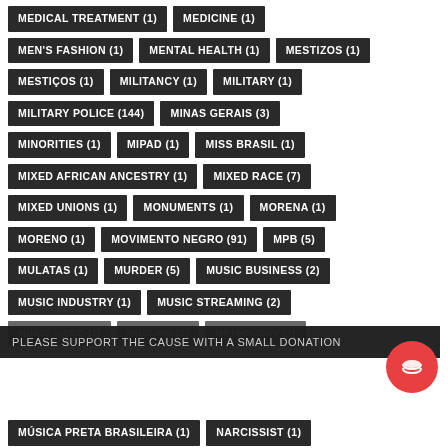MEDICAL TREATMENT (1)
MEDICINE (1)
MEN'S FASHION (1)
MENTAL HEALTH (1)
MESTIZOS (1)
MESTIÇOS (1)
MILITANCY (1)
MILITARY (1)
MILITARY POLICE (144)
MINAS GERAIS (3)
MINORITIES (1)
MIPAD (1)
MISS BRASIL (1)
MIXED AFRICAN ANCESTRY (1)
MIXED RACE (7)
MIXED UNIONS (1)
MONUMENTS (1)
MORENA (1)
MORENO (1)
MOVIMENTO NEGRO (91)
MPB (5)
MULATAS (1)
MURDER (5)
MUSIC BUSINESS (2)
MUSIC INDUSTRY (1)
MUSIC STREAMING (2)
MUSIC VIDEO (1)
MUSLIMS (1)
MYTHOLOGY (?)
PLEASE SUPPORT THE CAUSE WITH A SMALL DONATION
MÚSICA PRETA BRASILEIRA (1)
NARCISSIST (1)